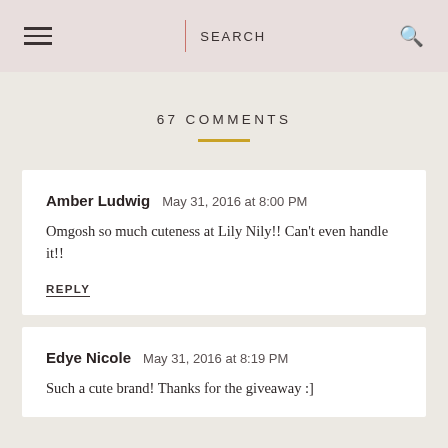SEARCH
67 COMMENTS
Amber Ludwig May 31, 2016 at 8:00 PM
Omgosh so much cuteness at Lily Nily!! Can't even handle it!!
REPLY
Edye Nicole May 31, 2016 at 8:19 PM
Such a cute brand! Thanks for the giveaway :]